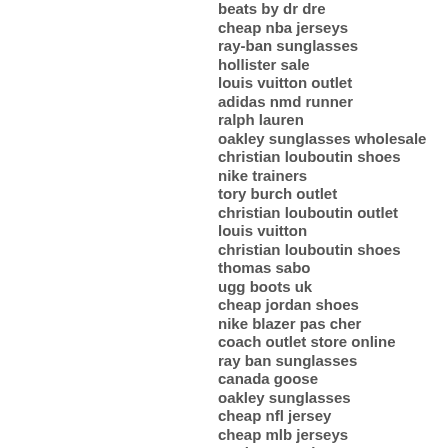beats by dr dre
cheap nba jerseys
ray-ban sunglasses
hollister sale
louis vuitton outlet
adidas nmd runner
ralph lauren
oakley sunglasses wholesale
christian louboutin shoes
nike trainers
tory burch outlet
christian louboutin outlet
louis vuitton
christian louboutin shoes
thomas sabo
ugg boots uk
cheap jordan shoes
nike blazer pas cher
coach outlet store online
ray ban sunglasses
canada goose
oakley sunglasses
cheap nfl jersey
cheap mlb jerseys
ray ban sunglasses
fitflops sale clearance
fitflops shoes
cheap oakley sunglasses
lacoste polo shirts
kate spade